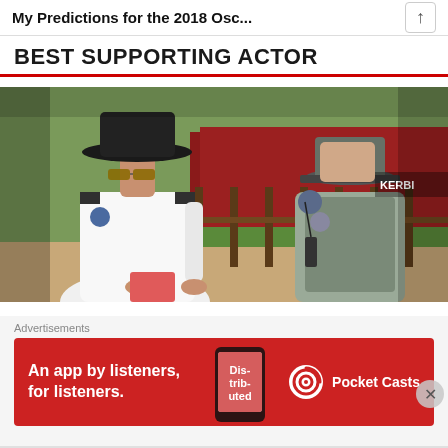My Predictions for the 2018 Osc...
BEST SUPPORTING ACTOR
[Figure (photo): Two police officers in uniform facing each other outdoors. The officer on the left wears a white shirt and black hat with sunglasses, holding a pink notepad. The officer on the right wears a gray uniform with a cap and radio equipment.]
Advertisements
[Figure (infographic): Red advertisement banner for Pocket Casts app reading 'An app by listeners, for listeners.' with a phone mockup showing 'Distributed' and the Pocket Casts logo on the right.]